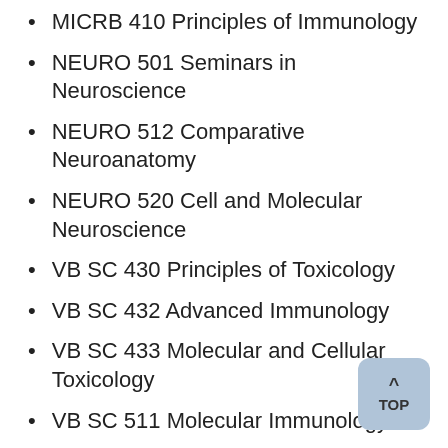MICRB 410 Principles of Immunology
NEURO 501 Seminars in Neuroscience
NEURO 512 Comparative Neuroanatomy
NEURO 520 Cell and Molecular Neuroscience
VB SC 430 Principles of Toxicology
VB SC 432 Advanced Immunology
VB SC 433 Molecular and Cellular Toxicology
VB SC 511 Molecular Immunology
VB SC 520 Pathobiology
VB SC/IBIOS 530 Regulation of Gene